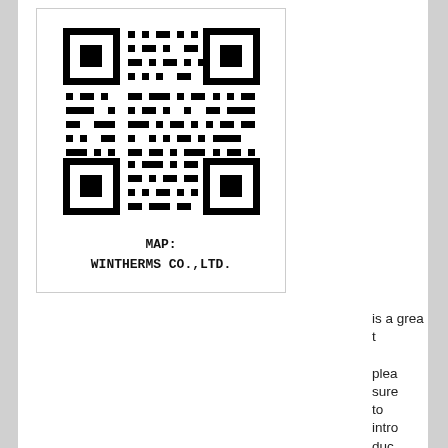[Figure (other): QR code for map of Wintherms Co.,Ltd. with caption text MAP: WINTHERMS CO.,LTD.]
is a great pleasure to introduce WINTHE